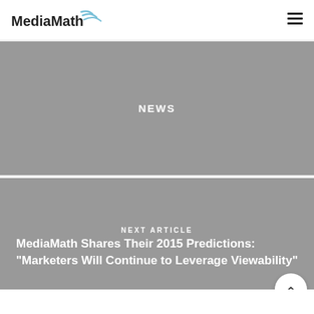MediaMath
NEWS
NEXT ARTICLE
MediaMath Shares Their 2015 Predictions: “Marketers Will Continue to Leverage Viewability”